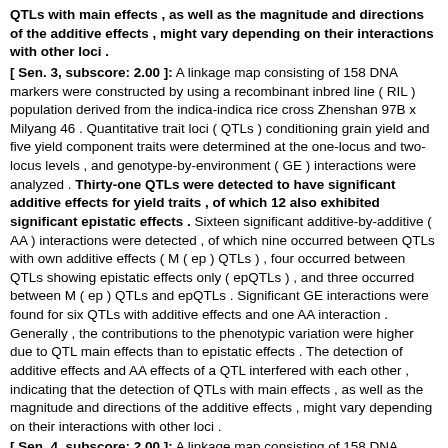QTLs with main effects , as well as the magnitude and directions of the additive effects , might vary depending on their interactions with other loci .
[ Sen. 3, subscore: 2.00 ]: A linkage map consisting of 158 DNA markers were constructed by using a recombinant inbred line ( RIL ) population derived from the indica-indica rice cross Zhenshan 97B x Milyang 46 . Quantitative trait loci ( QTLs ) conditioning grain yield and five yield component traits were determined at the one-locus and two-locus levels , and genotype-by-environment ( GE ) interactions were analyzed . Thirty-one QTLs were detected to have significant additive effects for yield traits , of which 12 also exhibited significant epistatic effects . Sixteen significant additive-by-additive ( AA ) interactions were detected , of which nine occurred between QTLs with own additive effects ( M ( ep ) QTLs ) , four occurred between QTLs showing epistatic effects only ( epQTLs ) , and three occurred between M ( ep ) QTLs and epQTLs . Significant GE interactions were found for six QTLs with additive effects and one AA interaction . Generally , the contributions to the phenotypic variation were higher due to QTL main effects than to epistatic effects . The detection of additive effects and AA effects of a QTL interfered with each other , indicating that the detection of QTLs with main effects , as well as the magnitude and directions of the additive effects , might vary depending on their interactions with other loci .
[ Sen. 4, subscore: 2.00 ]: A linkage map consisting of 158 DNA markers were constructed by using a recombinant inbred line ( RIL ) population derived from the indica-indica rice cross Zhenshan 97B x Milyang 46 . Quantitative trait loci ( QTLs ) conditioning grain yield and five yield component traits were determined at the one-locus and two-locus levels , and genotype-by-environment ( GE ) interactions were analyzed . Thirty-one QTLs were detected to have significant additive effects for yield traits , of which 12 also exhibited significant epistatic